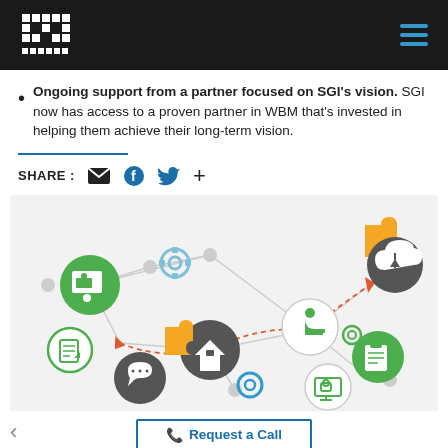WBM logo and navigation header
Ongoing support from a partner focused on SGI's vision. SGI now has access to a proven partner in WBM that's invested in helping them achieve their long-term vision.
SHARE :
[Figure (infographic): Network diagram showing interconnected service icons including training/presentation, document editing, cloud upload, remote worker, home/office, chat support, security monitor, clipboard/checklist, and gear icons, connected by lines with red dashed arrows indicating a workflow path. Yellow puzzle pieces and blue/green gear icons are also present.]
Request a Call